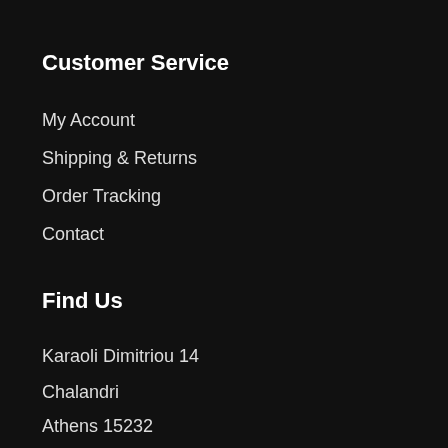Customer Service
My Account
Shipping & Returns
Order Tracking
Contact
Find Us
Karaoli Dimitriou 14
Chalandri
Athens 15232
210 6848294